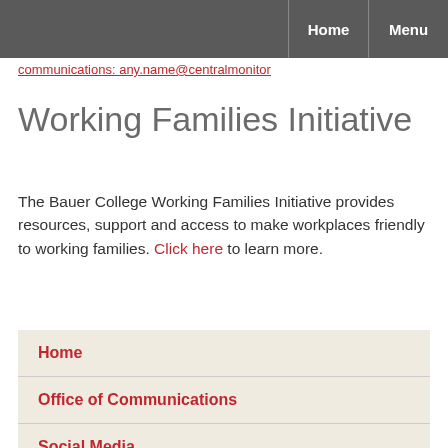Home | Menu
communications: any.name@centralmonitor
Working Families Initiative
The Bauer College Working Families Initiative provides resources, support and access to make workplaces friendly to working families. Click here to learn more.
Home
Office of Communications
Social Media
Publications
Podcast